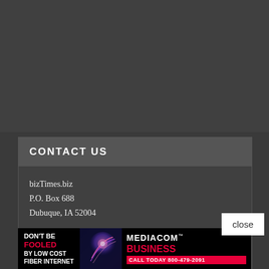CONTACT US
bizTimes.biz
P.O. Box 688
Dubuque, IA 52004
Gary Dura
Managing Editor
563-588-3838
gary.dura@thmedia.com
[Figure (infographic): Mediacom Business advertisement banner: 'DON'T BE FOOLED BY LOW COST FIBER INTERNET' with fiber optic image and 'MEDIACOM BUSINESS CALL TODAY 800-479-2091']